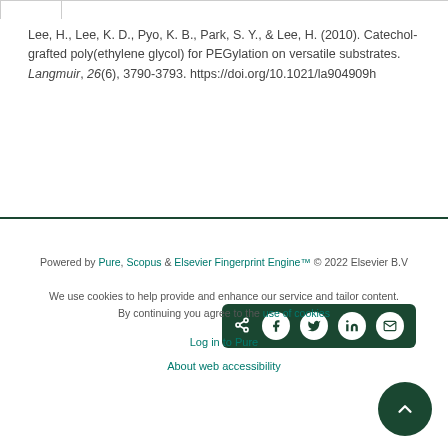Lee, H., Lee, K. D., Pyo, K. B., Park, S. Y., & Lee, H. (2010). Catechol-grafted poly(ethylene glycol) for PEGylation on versatile substrates. Langmuir, 26(6), 3790-3793. https://doi.org/10.1021/la904909h
[Figure (other): Social share buttons bar with icons for share, Facebook, Twitter, LinkedIn, and email on dark green background]
Powered by Pure, Scopus & Elsevier Fingerprint Engine™ © 2022 Elsevier B.V

We use cookies to help provide and enhance our service and tailor content. By continuing you agree to the use of cookies

Log in to Pure

About web accessibility